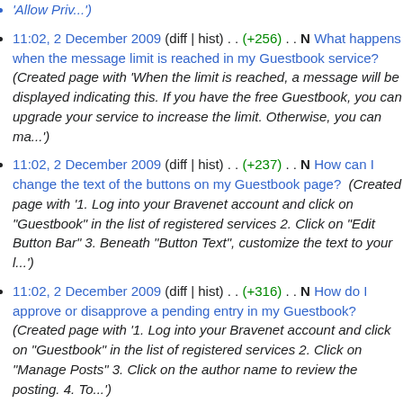'Allow Priv...')
11:02, 2 December 2009 (diff | hist) . . (+256) . . N What happens when the message limit is reached in my Guestbook service? (Created page with 'When the limit is reached, a message will be displayed indicating this. If you have the free Guestbook, you can upgrade your service to increase the limit. Otherwise, you can ma...')
11:02, 2 December 2009 (diff | hist) . . (+237) . . N How can I change the text of the buttons on my Guestbook page? (Created page with '1. Log into your Bravenet account and click on "Guestbook" in the list of registered services 2. Click on "Edit Button Bar" 3. Beneath "Button Text", customize the text to your l...')
11:02, 2 December 2009 (diff | hist) . . (+316) . . N How do I approve or disapprove a pending entry in my Guestbook? (Created page with '1. Log into your Bravenet account and click on "Guestbook" in the list of registered services 2. Click on "Manage Posts" 3. Click on the author name to review the posting. 4. To...')
11:02, 2 December 2009 (diff | hist) . . (+415) . . N Is there a way I can review Guestbook entries before they